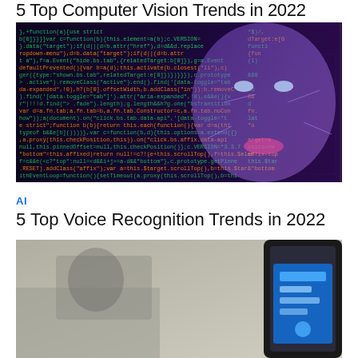5 Top Computer Vision Trends in 2022
[Figure (photo): AI robot face overlaid on code background with purple/blue tones and circuit patterns]
AI
5 Top Voice Recognition Trends in 2022
[Figure (photo): Person using smartphone voice recognition, with close-up of phone screen, partially covered by an advertisement overlay with an X close button]